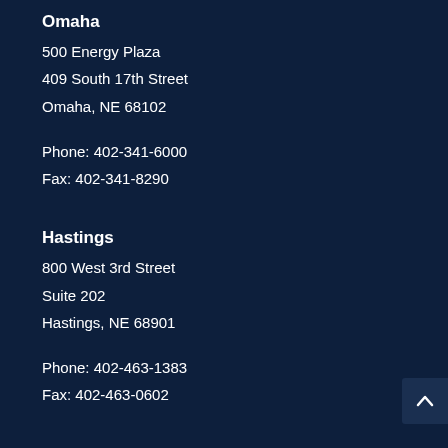Omaha
500 Energy Plaza
409 South 17th Street
Omaha, NE 68102
Phone: 402-341-6000
Fax: 402-341-8290
Hastings
800 West 3rd Street
Suite 202
Hastings, NE 68901
Phone: 402-463-1383
Fax: 402-463-0602